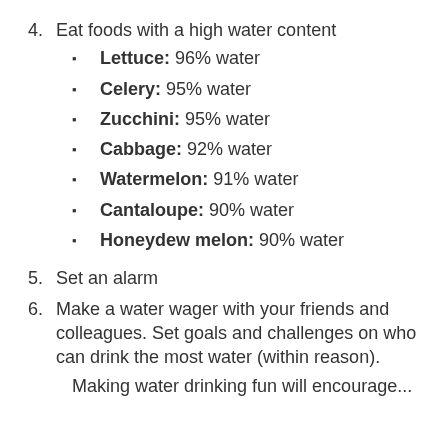4. Eat foods with a high water content
Lettuce: 96% water
Celery: 95% water
Zucchini: 95% water
Cabbage: 92% water
Watermelon: 91% water
Cantaloupe: 90% water
Honeydew melon: 90% water
5. Set an alarm
6. Make a water wager with your friends and colleagues. Set goals and challenges on who can drink the most water (within reason).
Making water drinking fun will encourage...